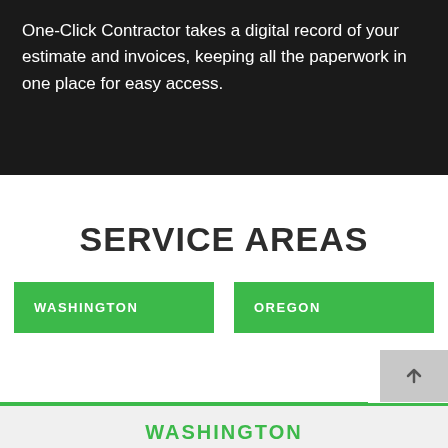One-Click Contractor takes a digital record of your estimate and invoices, keeping all the paperwork in one place for easy access.
SERVICE AREAS
WASHINGTON
OREGON
WASHINGTON